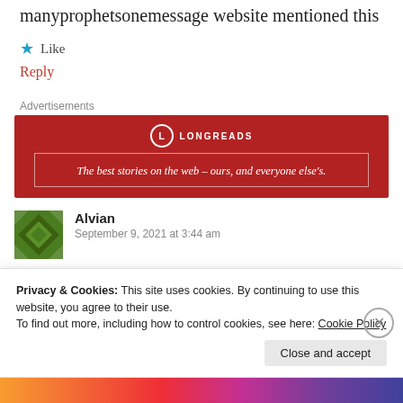manyprophetsonemessage website mentioned this
★ Like
Reply
Advertisements
[Figure (other): Longreads advertisement banner: red background with white text reading 'The best stories on the web – ours, and everyone else's.']
Alvian
September 9, 2021 at 3:44 am
Privacy & Cookies: This site uses cookies. By continuing to use this website, you agree to their use.
To find out more, including how to control cookies, see here: Cookie Policy
Close and accept